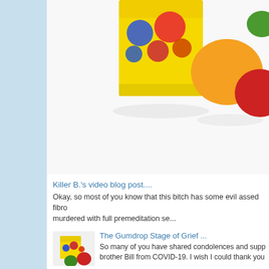[Figure (photo): Photo of a yellow box of DOTS candy with colorful gumdrop candies (orange, red, green) in the background, cropped at top of page]
Killer B.'s video blog post....
Okay, so most of you know that this bitch has some evil assed fibro murdered with full premeditation se...
[Figure (photo): Small thumbnail photo of a box of DOTS candy with red and green gumdrops in front]
The Gumdrop Stage of Grief ...
So many of you have shared condolences and supp brother Bill from COVID-19. I wish I could thank you